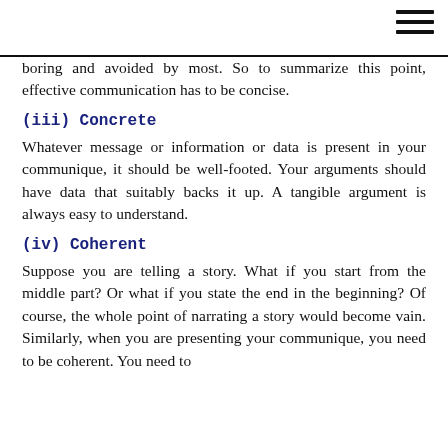boring and avoided by most. So to summarize this point, effective communication has to be concise.
(iii) Concrete
Whatever message or information or data is present in your communique, it should be well-footed. Your arguments should have data that suitably backs it up. A tangible argument is always easy to understand.
(iv) Coherent
Suppose you are telling a story. What if you start from the middle part? Or what if you state the end in the beginning? Of course, the whole point of narrating a story would become vain. Similarly, when you are presenting your communique, you need to be coherent. You need to